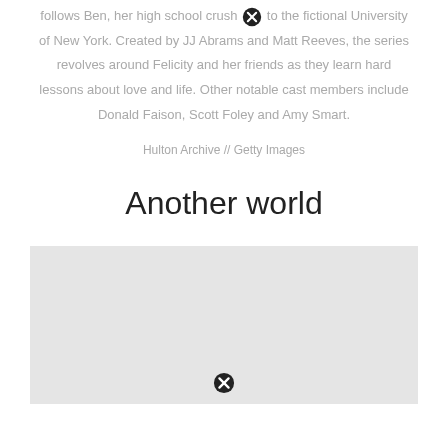follows Ben, her high school crush to the fictional University of New York. Created by JJ Abrams and Matt Reeves, the series revolves around Felicity and her friends as they learn hard lessons about love and life. Other notable cast members include Donald Faison, Scott Foley and Amy Smart.
Hulton Archive // Getty Images
Another world
[Figure (photo): A large image placeholder (light gray rectangle) representing a photo, with a close/cancel icon at the bottom center.]